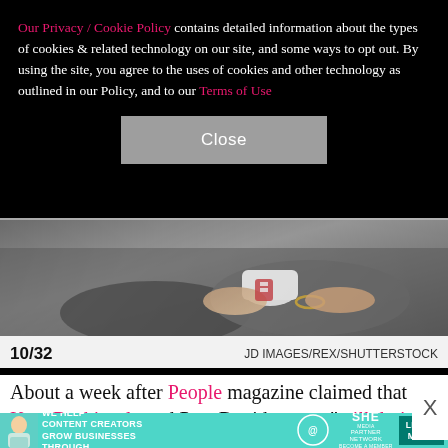Our Privacy / Cookie Policy contains detailed information about the types of cookies & related technology on our site, and some ways to opt out. By using the site, you agree to the uses of cookies and other technology as outlined in our Policy, and to our Terms of Use
[Figure (photo): Close-up photo of two people's hands together, one wearing a bracelet, sitting on what appears to a couch or seat. The image shows two image panels joined with a thin line separator.]
10/32    JD IMAGES/REX/SHUTTERSTOCK
About a week after People magazine claimed that Kate Beckinsale and Pete Davidson are "still dating," the
[Figure (advertisement): Teal advertisement bar: WE HELP CONTENT CREATORS GROW BUSINESSES THROUGH... @SHE PARTNER NETWORK BECOME A MEMBER | LEARN MORE]